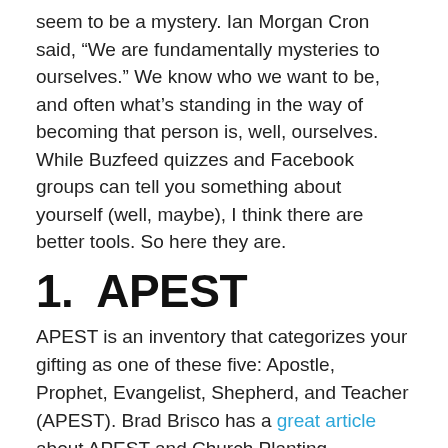seem to be a mystery. Ian Morgan Cron said, “We are fundamentally mysteries to ourselves.” We know who we want to be, and often what’s standing in the way of becoming that person is, well, ourselves. While Buzfeed quizzes and Facebook groups can tell you something about yourself (well, maybe), I think there are better tools. So here they are.
1.  APEST
APEST is an inventory that categorizes your gifting as one of these five: Apostle, Prophet, Evangelist, Shepherd, and Teacher (APEST). Brad Brisco has a great article about APEST and Church Planting, explaining that each of these gifts is vital to the health of the church, so it is important to recognize your own gifting as well as empower others in their gifting. Brisco writes this:
Ephesians 4 is not the only passage APEST is